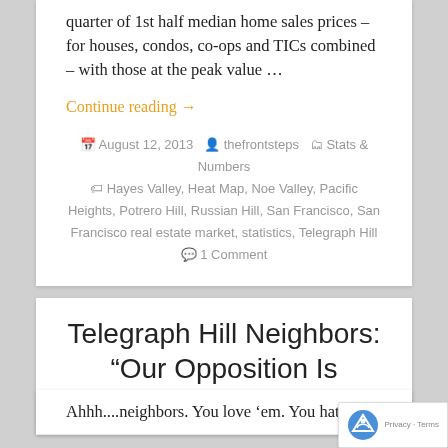quarter of 1st half median home sales prices – for houses, condos, co-ops and TICs combined – with those at the peak value …
Continue reading →
August 12, 2013   thefrontsteps   Stats & Numbers   Hayes Valley, Heat Map, Noe Valley, Pacific Heights, Potrero Hill, Russian Hill, San Francisco, San Francisco real estate market, statistics, Telegraph Hill   1 Comment
Telegraph Hill Neighbors: "Our Opposition Is Unconditional"
Ahhh....neighbors. You love 'em. You hate 'em.